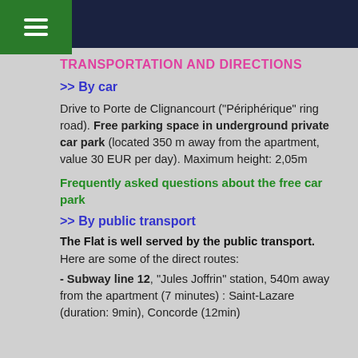TRANSPORTATION AND DIRECTIONS
>> By car
Drive to Porte de Clignancourt ("Périphérique" ring road). Free parking space in underground private car park (located 350 m away from the apartment, value 30 EUR per day). Maximum height: 2,05m
Frequently asked questions about the free car park
>> By public transport
The Flat is well served by the public transport.
Here are some of the direct routes:
- Subway line 12, "Jules Joffrin" station, 540m away from the apartment (7 minutes) : Saint-Lazare (duration: 9min), Concorde (12min)